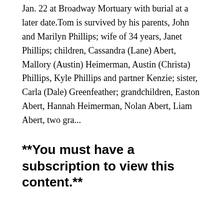Jan. 22 at Broadway Mortuary with burial at a later date.Tom is survived by his parents, John and Marilyn Phillips; wife of 34 years, Janet Phillips; children, Cassandra (Lane) Abert, Mallory (Austin) Heimerman, Austin (Christa) Phillips, Kyle Phillips and partner Kenzie; sister, Carla (Dale) Greenfeather; grandchildren, Easton Abert, Hannah Heimerman, Nolan Abert, Liam Abert, two gra...
**You must have a subscription to view this content.**
Online content at tsnews.com is available with a subscription to combined print edition of The Times-Sentinel, Haysville Sun-Times, and Conway Springs Star & Argonia Argosy.
If you already have a subscription and an online account, log...